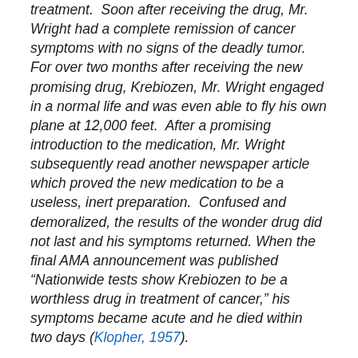treatment.  Soon after receiving the drug, Mr. Wright had a complete remission of cancer symptoms with no signs of the deadly tumor. For over two months after receiving the new promising drug, Krebiozen, Mr. Wright engaged in a normal life and was even able to fly his own plane at 12,000 feet.  After a promising introduction to the medication, Mr. Wright subsequently read another newspaper article which proved the new medication to be a useless, inert preparation.  Confused and demoralized, the results of the wonder drug did not last and his symptoms returned. When the final AMA announcement was published “Nationwide tests show Krebiozen to be a worthless drug in treatment of cancer,” his symptoms became acute and he died within two days (Klopher, 1957).
The term placebo loosely translates as ‘I shall please